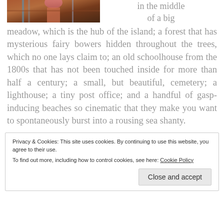[Figure (photo): Partial photo of a person wearing a colorful garment, cropped at top of page, left side]
in the middle of a big
meadow, which is the hub of the island; a forest that has mysterious fairy bowers hidden throughout the trees, which no one lays claim to; an old schoolhouse from the 1800s that has not been touched inside for more than half a century; a small, but beautiful, cemetery; a lighthouse; a tiny post office; and a handful of gasp-inducing beaches so cinematic that they make you want to spontaneously burst into a rousing sea shanty.
Privacy & Cookies: This site uses cookies. By continuing to use this website, you agree to their use.
To find out more, including how to control cookies, see here: Cookie Policy